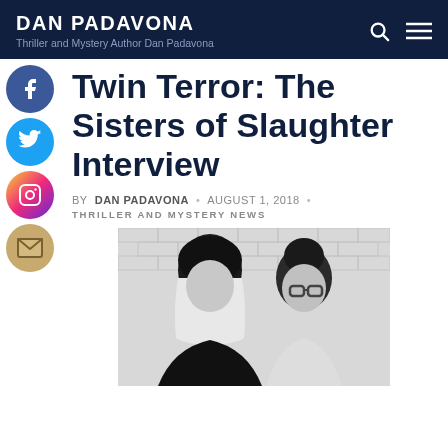DAN PADAVONA — Thriller and Mystery Author Dan Padavona
Twin Terror: The Sisters of Slaughter Interview
BY DAN PADAVONA • AUGUST 1, 2018
THRILLER AND MYSTERY NEWS
[Figure (photo): Black and white photograph of two women (The Sisters of Slaughter) posing together in front of a brick wall]